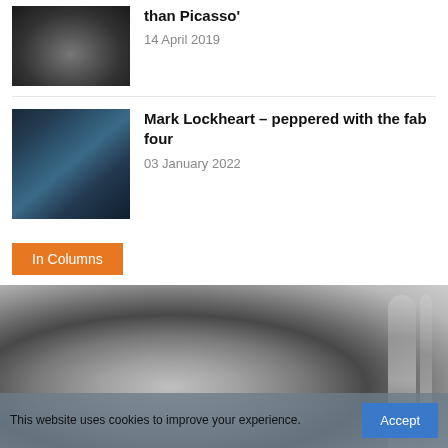[Figure (photo): Black and white photo of men in tuxedos]
than Picasso'
14 April 2019
[Figure (photo): Band photo with four men in casual clothes]
Mark Lockheart – peppered with the fab four
03 January 2022
In Columns
[Figure (photo): Black and white photo of a young man in profile with a trombone]
This website uses cookies to improve your experience.